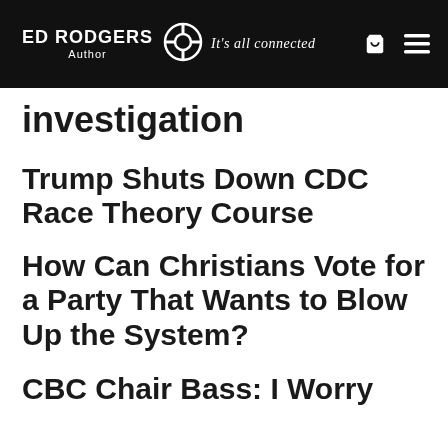ED RODGERS Author — It's all connected
investigation
Trump Shuts Down CDC Race Theory Course
How Can Christians Vote for a Party That Wants to Blow Up the System?
CBC Chair Bass: I Worry